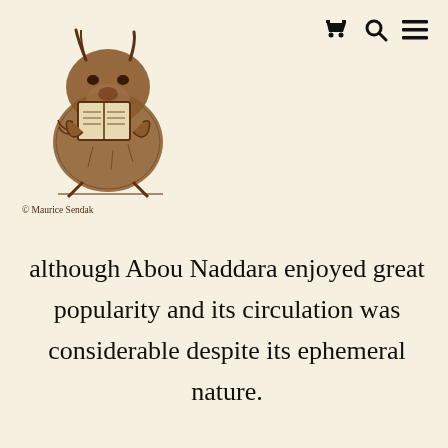🛒 🔍 ≡
[Figure (illustration): A monster/wild thing creature sitting and reading a book, drawn in brown ink style, reminiscent of Maurice Sendak illustration]
© Maurice Sendak
although Abou Naddara enjoyed great popularity and its circulation was considerable despite its ephemeral nature.